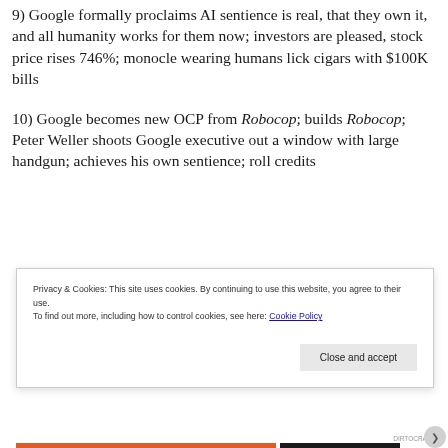9) Google formally proclaims AI sentience is real, that they own it, and all humanity works for them now; investors are pleased, stock price rises 746%; monocle wearing humans lick cigars with $100K bills
10) Google becomes new OCP from Robocop; builds Robocop; Peter Weller shoots Google executive out a window with large handgun; achieves his own sentience; roll credits
Privacy & Cookies: This site uses cookies. By continuing to use this website, you agree to their use. To find out more, including how to control cookies, see here: Cookie Policy
DIRTOCRACY